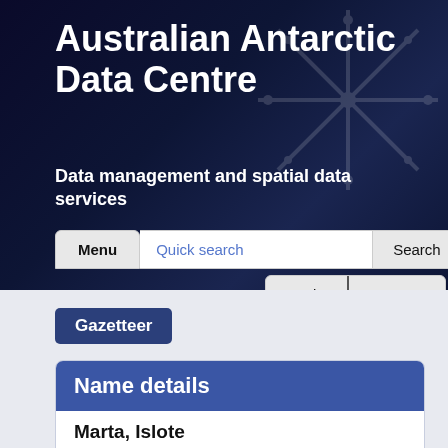Australian Antarctic Data Centre
Data management and spatial data services
[Figure (screenshot): Navigation bar with Menu button, Quick search input, Search button, Login and Support buttons]
Gazetteer
Name details
Marta, Islote
Marta, Islote (The name as it would appear in a gazetteer)